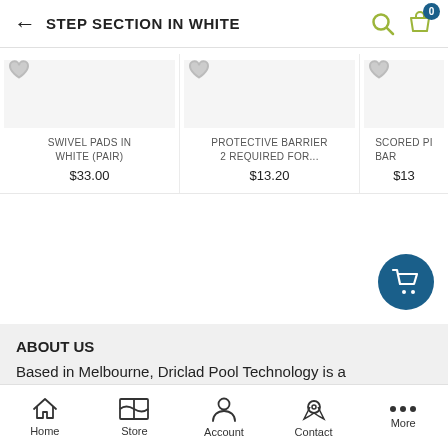STEP SECTION IN WHITE
SWIVEL PADS IN WHITE (PAIR)
$33.00
PROTECTIVE BARRIER 2 REQUIRED FOR...
$13.20
SCORED PI... BAR
$13
ABOUT US
Based in Melbourne, Driclad Pool Technology is a manufacturer and distributor of above ground swimming
Home  Store  Account  Contact  More